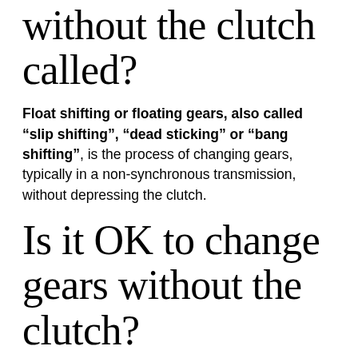without the clutch called?
Float shifting or floating gears, also called "slip shifting", "dead sticking" or "bang shifting", is the process of changing gears, typically in a non-synchronous transmission, without depressing the clutch.
Is it OK to change gears without the clutch?